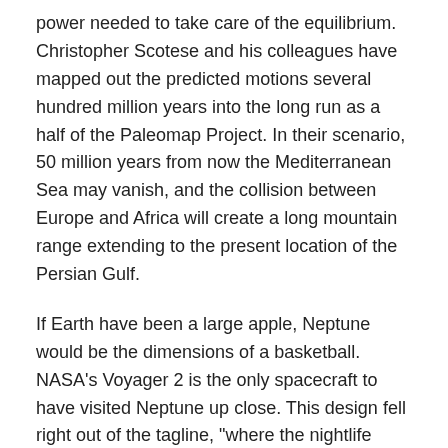power needed to take care of the equilibrium. Christopher Scotese and his colleagues have mapped out the predicted motions several hundred million years into the long run as a half of the Paleomap Project. In their scenario, 50 million years from now the Mediterranean Sea may vanish, and the collision between Europe and Africa will create a long mountain range extending to the present location of the Persian Gulf.
If Earth have been a large apple, Neptune would be the dimensions of a basketball. NASA's Voyager 2 is the only spacecraft to have visited Neptune up close. This design fell right out of the tagline, "where the nightlife never ends," which was excellent for a wandering planet that has no star. There's no right means up in house, so for enjoyable, we turned the floor the incorrect way up from the point of view of the guests within the image. Saturn's moon Enceladus is all about the plumes erupting from its south pole. At our first brainstorming session, someone known as the plumes "Cold Faithful," and